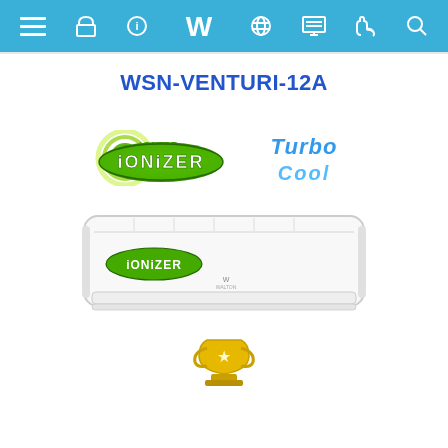Walton website navigation bar
WSN-VENTURI-12A
[Figure (logo): Ionizer logo (green circular badge) and Turbo Cool logo (blue stylized text)]
[Figure (photo): Walton WSN-VENTURI-12A air conditioner indoor unit, white wall-mounted split AC with Ionizer badge on the front panel and Walton logo in center]
[Figure (illustration): Gold trophy or award icon partially visible at bottom]